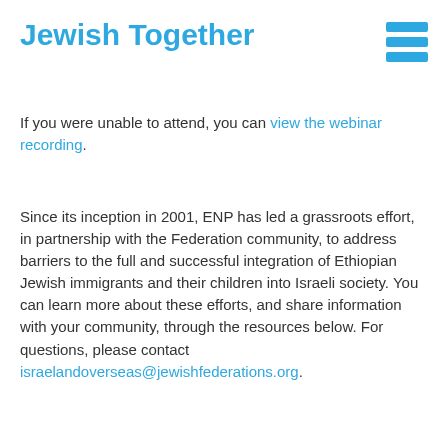Jewish Together
If you were unable to attend, you can view the webinar recording.
Since its inception in 2001, ENP has led a grassroots effort, in partnership with the Federation community, to address barriers to the full and successful integration of Ethiopian Jewish immigrants and their children into Israeli society. You can learn more about these efforts, and share information with your community, through the resources below. For questions, please contact israelandoverseas@jewishfederations.org.